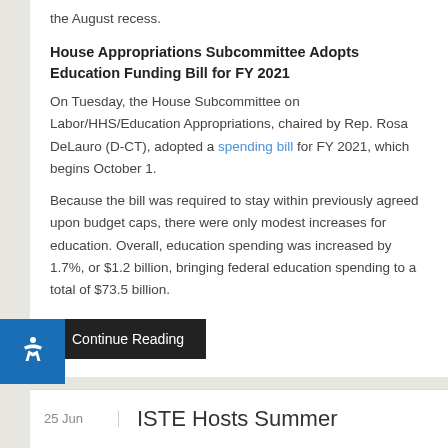the August recess.
House Appropriations Subcommittee Adopts Education Funding Bill for FY 2021
On Tuesday, the House Subcommittee on Labor/HHS/Education Appropriations, chaired by Rep. Rosa DeLauro (D-CT), adopted a spending bill for FY 2021, which begins October 1.
Because the bill was required to stay within previously agreed upon budget caps, there were only modest increases for education. Overall, education spending was increased by 1.7%, or $1.2 billion, bringing federal education spending to a total of $73.5 billion.
Continue Reading
25 Jun
ISTE Hosts Summer